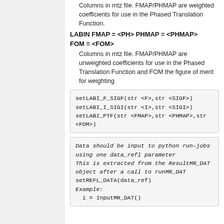Columns in mtz file. FMAP/PHMAP are weighted coefficients for use in the Phased Translation Function.
LABIN FMAP = <PH> PHMAP = <PHMAP> FOM = <FOM>
Columns in mtz file. FMAP/PHMAP are unweighted coefficients for use in the Phased Translation Function and FOM the figure of merit for weighting
setLABI_F_SIGF(str <F>,str <SIGF>)
setLABI_I_SIGI(str <I>,str <SIGI>)
setLABI_PTF(str <FMAP>,str <PHMAP>,str <FOM>)
Data should be input to python run-jobs using one data_refl parameter
This is extracted from the ResultMR_DAT object after a call to runMR_DAT
setREFL_DATA(data_ref)
Example:
  i = InputMR_DAT()